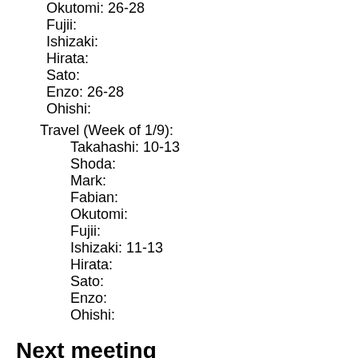Okutomi: 26-28
Fujii:
Ishizaki:
Hirata:
Sato:
Enzo: 26-28
Ohishi:
Travel (Week of 1/9):
Takahashi: 10-13
Shoda:
Mark:
Fabian:
Okutomi:
Fujii:
Ishizaki: 11-13
Hirata:
Sato:
Enzo:
Ohishi:
Next meeting
On 2017/1/6(Fri) @ Mitaka